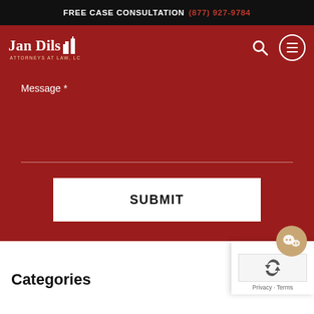FREE CASE CONSULTATION (877) 927-9784
[Figure (logo): Jan Dils Attorneys at Law, LC logo with building icon, white text on red background]
Message *
SUBMIT
Categories